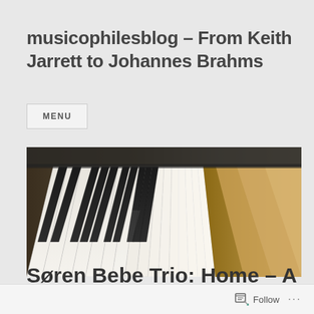musicophilesblog – From Keith Jarrett to Johannes Brahms
MENU
[Figure (photo): Close-up photograph of piano keys, showing black and white keys from an angle with shallow depth of field.]
Søren Bebe Trio: Home – A Review
Follow ...